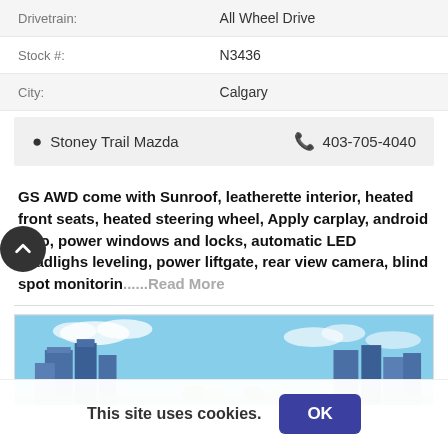| Label | Value |
| --- | --- |
| Drivetrain: | All Wheel Drive |
| Stock #: | N3436 |
| City: | Calgary |
Stoney Trail Mazda   403-705-4040
GS AWD come with Sunroof, leatherette interior, heated front seats, heated steering wheel, Apply carplay, android auto, power windows and locks, automatic LED headlighs leveling, power liftgate, rear view camera, blind spot monitorin.....Read More
[Figure (photo): City skyline photo with blue sky and modern buildings]
This site uses cookies.  OK